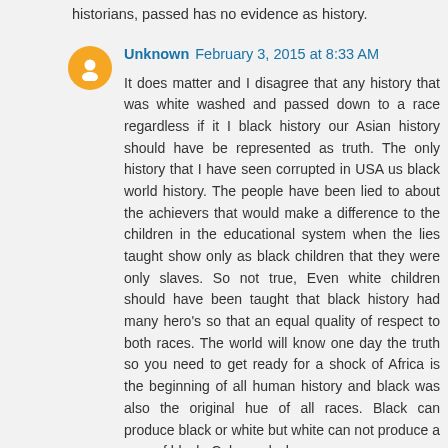historians, passed has no evidence as history.
Unknown  February 3, 2015 at 8:33 AM
It does matter and I disagree that any history that was white washed and passed down to a race regardless if it I black history our Asian history should have be represented as truth. The only history that I have seen corrupted in USA us black world history. The people have been lied to about the achievers that would make a difference to the children in the educational system when the lies taught show only as black children that they were only slaves. So not true, Even white children should have been taught that black history had many hero's so that an equal quality of respect to both races. The world will know one day the truth so you need to get ready for a shock of Africa is the beginning of all human history and black was also the original hue of all races. Black can produce black or white but white can not produce a race of black. Color and who